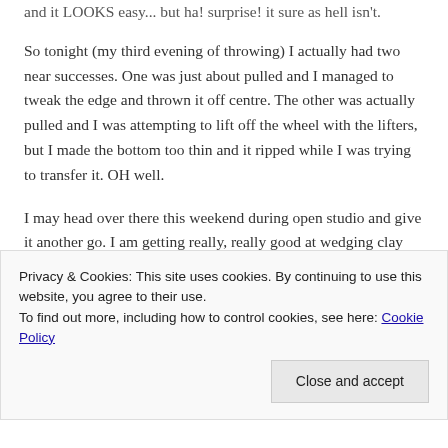and it LOOKS easy... but ha! surprise! it sure as hell isn't.
So tonight (my third evening of throwing) I actually had two near successes. One was just about pulled and I managed to tweak the edge and thrown it off centre. The other was actually pulled and I was attempting to lift off the wheel with the lifters, but I made the bottom too thin and it ripped while I was trying to transfer it. OH well.
I may head over there this weekend during open studio and give it another go. I am getting really, really good at wedging clay though. And I should have shot a photo of my near success but thought of it only after I'd already rendered it into
Privacy & Cookies: This site uses cookies. By continuing to use this website, you agree to their use.
To find out more, including how to control cookies, see here: Cookie Policy